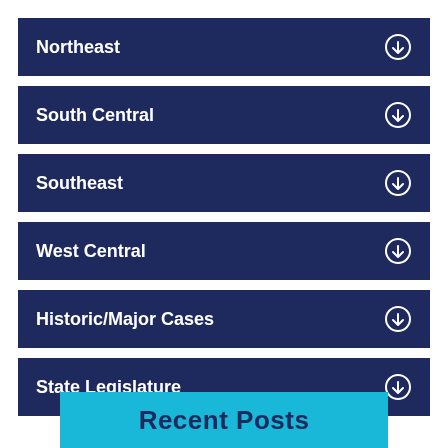Northeast
South Central
Southeast
West Central
Historic/Major Cases
State Legislature
Recent Posts